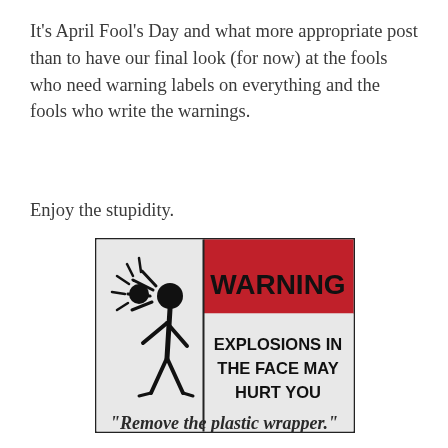It's April Fool's Day and what more appropriate post than to have our final look (for now) at the fools who need warning labels on everything and the fools who write the warnings.
Enjoy the stupidity.
[Figure (illustration): A humorous warning label sign. Left panel: light gray background with a black stick figure icon showing a person with an explosion at their face. Right panel split into two: top red section with bold black text 'WARNING'; bottom light gray section with bold black text 'EXPLOSIONS IN THE FACE MAY HURT YOU'. The whole sign has a dark border.]
“Remove the plastic wrapper.”